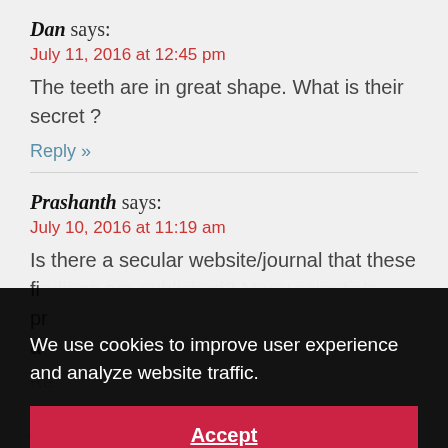Dan says:
July 11, 2016 at 12:45 pm
The teeth are in great shape. What is their secret ?
Reply »
Prashanth says:
July 10, 2016 at 11:19 am
Is there a secular website/journal that these findings are published? Many scientists prefer to publish in peer reviewed journals to ensure a c...
Re...
An...
July 10, 2016 at 11:04 am
We use cookies to improve user experience and analyze website traffic.
Accept